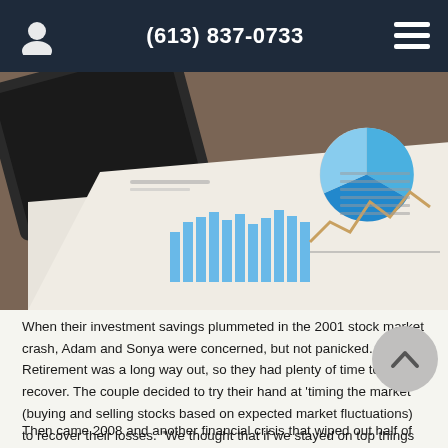(613) 837-0733
[Figure (photo): Close-up photo of financial documents on a desk showing a pie chart, bar chart, and line chart printed on paper, along with a tablet or book in the background]
When their investment savings plummeted in the 2001 stock market crash, Adam and Sonya were concerned, but not panicked. Retirement was a long way out, so they had plenty of time to recover. The couple decided to try their hand at 'timing the market' (buying and selling stocks based on expected market fluctuations) to recover their losses. "We thought that if we stayed on top things and could chart when the market would go up and down, we could make our money back," says Adam.
Then came 2008 and another financial crisis that wiped out half of their investment assets. "We'd spent a lot of time and energy on an investment strategy that ended up being pointless," says Sonya. "We